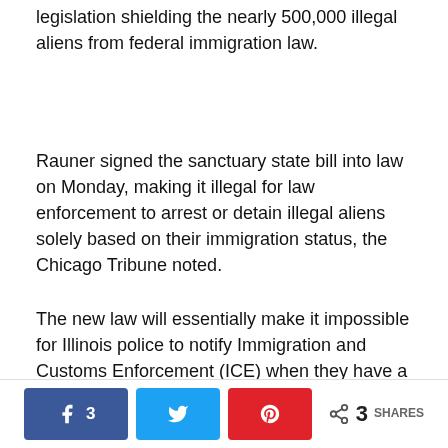legislation shielding the nearly 500,000 illegal aliens from federal immigration law.
Rauner signed the sanctuary state bill into law on Monday, making it illegal for law enforcement to arrest or detain illegal aliens solely based on their immigration status, the Chicago Tribune noted.
The new law will essentially make it impossible for Illinois police to notify Immigration and Customs Enforcement (ICE) when they have a suspected criminal illegal alien on their hands, thus increasing the possibility that they will be freed back into the general public.
The...
3 SHARES (Facebook: 3, Twitter, Pinterest)